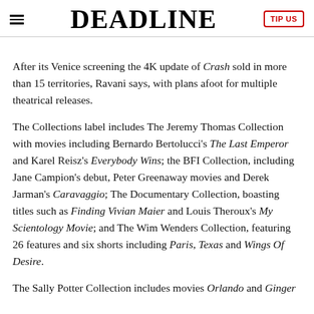DEADLINE
After its Venice screening the 4K update of Crash sold in more than 15 territories, Ravani says, with plans afoot for multiple theatrical releases.
The Collections label includes The Jeremy Thomas Collection with movies including Bernardo Bertolucci's The Last Emperor and Karel Reisz's Everybody Wins; the BFI Collection, including Jane Campion's debut, Peter Greenaway movies and Derek Jarman's Caravaggio; The Documentary Collection, boasting titles such as Finding Vivian Maier and Louis Theroux's My Scientology Movie; and The Wim Wenders Collection, featuring 26 features and six shorts including Paris, Texas and Wings Of Desire.
The Sally Potter Collection includes movies Orlando and Ginger